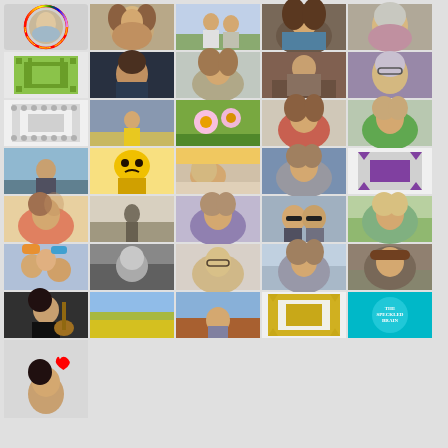[Figure (photo): Grid of 34 profile/avatar photos and placeholder images arranged in a 5-column by 9-row grid. Images include portrait photos of various people (mostly women), decorative quilt-pattern avatars, and a few illustrated/logo avatars. The first cell contains a circular avatar with a rainbow border. Several cells contain geometric quilt-pattern placeholders in lime green, gray, purple, and gold.]